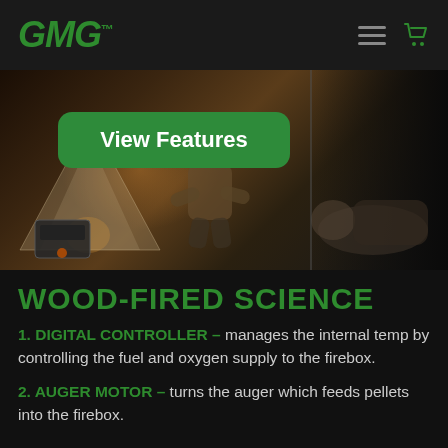GMG
[Figure (photo): Outdoor camping scene with a person sitting cross-legged near a tent and a GMG grill/smoker, nighttime setting. A 'View Features' green button overlay is present.]
WOOD-FIRED SCIENCE
1. DIGITAL CONTROLLER – manages the internal temp by controlling the fuel and oxygen supply to the firebox.
2. AUGER MOTOR – turns the auger which feeds pellets into the firebox.